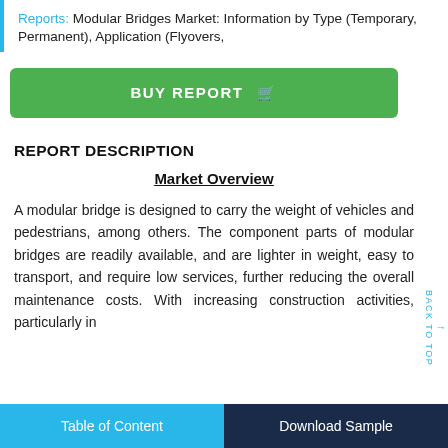Reports: Modular Bridges Market: Information by Type (Temporary, Permanent), Application (Flyovers,
[Figure (other): Green 'BUY REPORT' button with shopping cart icon]
REPORT DESCRIPTION
Market Overview
A modular bridge is designed to carry the weight of vehicles and pedestrians, among others. The component parts of modular bridges are readily available, and are lighter in weight, easy to transport, and require low services, further reducing the overall maintenance costs. With increasing construction activities, particularly in
Table of Content | Download Sample